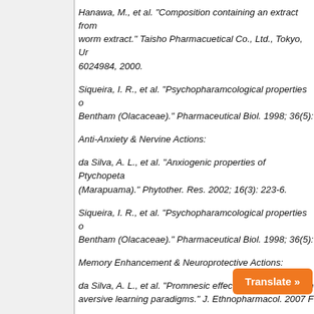Hanawa, M., et al. "Composition containing an extract from worm extract." Taisho Pharmacuetical Co., Ltd., Tokyo, U... 6024984, 2000.
Siqueira, I. R., et al. "Psychopharamcological properties o... Bentham (Olacaceae)." Pharmaceutical Biol. 1998; 36(5):...
Anti-Anxiety & Nervine Actions:
da Silva, A. L., et al. "Anxiogenic properties of Ptychopeta... (Marapuama)." Phytother. Res. 2002; 16(3): 223-6.
Siqueira, I. R., et al. "Psychopharamcological properties o... Bentham (Olacaceae)." Pharmaceutical Biol. 1998; 36(5):...
Memory Enhancement & Neuroprotective Actions:
da Silva, A. L., et al. "Promnesic effects of Ptychopetalum... aversive learning paradigms." J. Ethnopharmacol. 2007 F...
da Silva, A. L., et al. "Memory retriev...